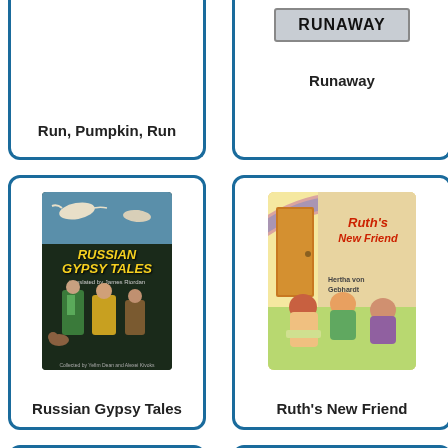[Figure (illustration): Book card (top, partial) for 'Run, Pumpkin, Run' with book title below]
Run, Pumpkin, Run
[Figure (illustration): Book card (top, partial) for 'Runaway' showing a sign reading RUNAWAY]
Runaway
[Figure (illustration): Book card for 'Russian Gypsy Tales' showing dark illustrated cover with figures and yellow title text]
Russian Gypsy Tales
[Figure (illustration): Book card for 'Ruth's New Friend' showing illustrated cover with children and a door]
Ruth's New Friend
[Figure (illustration): Bottom partial book cards, cropped at bottom of page]